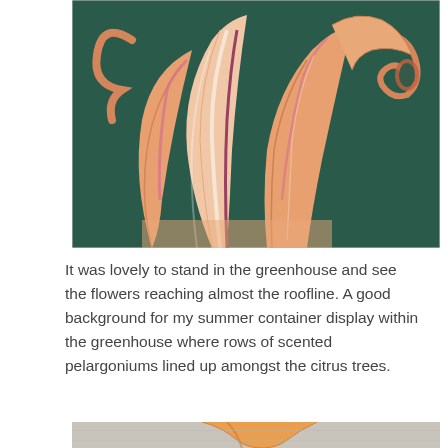[Figure (photo): Close-up painting or illustration of a large orange flower (possibly an angel's trumpet or lily) with peach and pink petals and curling tips, against a dark teal/green background.]
It was lovely to stand in the greenhouse and see the flowers reaching almost the roofline. A good background for my summer container display within the greenhouse where rows of scented pelargoniums lined up amongst the citrus trees.
[Figure (photo): Partial bottom photo showing a curled orange/peach flower petal or trumpet shape against a light grey/stone background, cropped at the bottom of the page.]